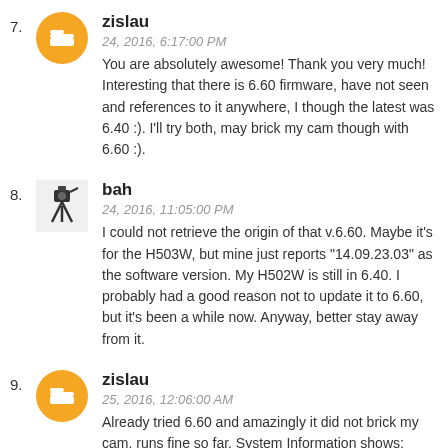7. zislau
24, 2016, 6:17:00 PM
You are absolutely awesome! Thank you very much! Interesting that there is 6.60 firmware, have not seen and references to it anywhere, I though the latest was 6.40 :). I'll try both, may brick my cam though with 6.60 :).
8. bah
24, 2016, 11:05:00 PM
I could not retrieve the origin of that v.6.60. Maybe it's for the H503W, but mine just reports "14.09.23.03" as the software version. My H502W is still in 6.40. I probably had a good reason not to update it to 6.60, but it's been a while now. Anyway, better stay away from it.
9. zislau
25, 2016, 12:06:00 AM
Already tried 6.60 and amazingly it did not brick my cam, runs fine so far. System Information shows: